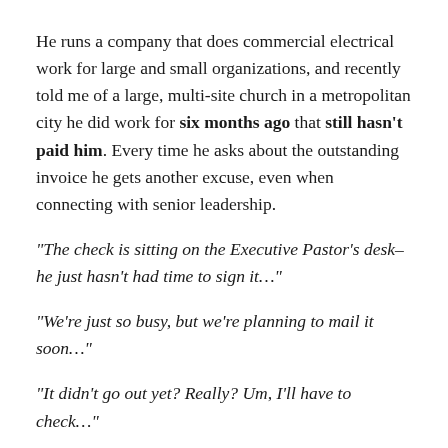He runs a company that does commercial electrical work for large and small organizations, and recently told me of a large, multi-site church in a metropolitan city he did work for six months ago that still hasn't paid him. Every time he asks about the outstanding invoice he gets another excuse, even when connecting with senior leadership.
“The check is sitting on the Executive Pastor’s desk– he just hasn’t had time to sign it…”
“We’re just so busy, but we’re planning to mail it soon…”
“It didn’t go out yet? Really? Um, I’ll have to check…”
Every time he asked over the course of six months, another excuse was given that eroded their credibility.